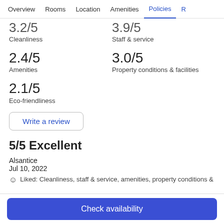Overview  Rooms  Location  Amenities  Policies  R
3.2/5
Cleanliness
3.9/5
Staff & service
2.4/5
Amenities
3.0/5
Property conditions & facilities
2.1/5
Eco-friendliness
Write a review
5/5 Excellent
Alsantice
Jul 10, 2022
Liked: Cleanliness, staff & service, amenities, property conditions &
Check availability